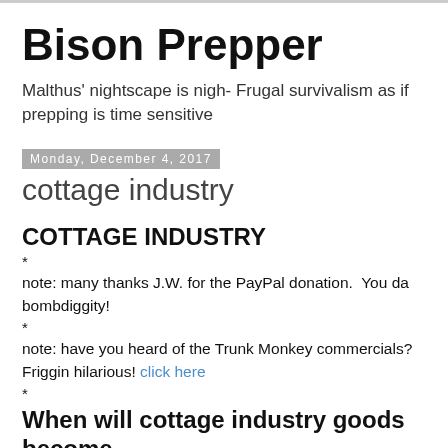Bison Prepper
Malthus' nightscape is nigh- Frugal survivalism as if prepping is time sensitive
Monday, December 4, 2017
cottage industry
COTTAGE INDUSTRY
*
note: many thanks J.W. for the PayPal donation.  You da bombdiggity!
*
note: have you heard of the Trunk Monkey commercials? Friggin hilarious! click here
*
When will cottage industry goods become